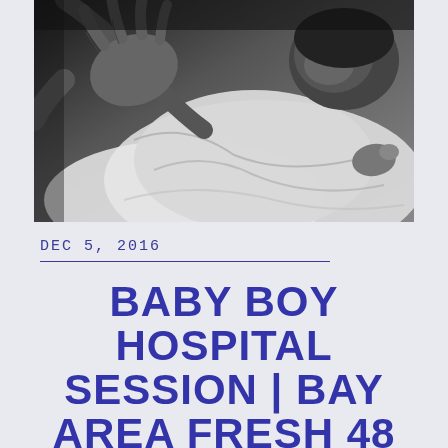[Figure (photo): Black and white photograph of a newborn baby being held, with an adult hand visible on the baby wrapped in a white cloth/blanket]
DEC 5, 2016
BABY BOY HOSPITAL SESSION | BAY AREA FRESH 48 NEWBORN PHOTOGRAPHY